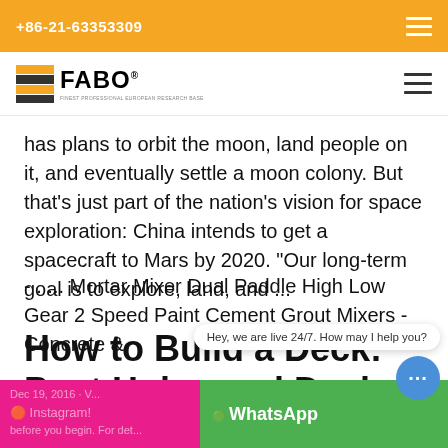+86-21-63353309
[Figure (logo): FABO company logo with yellow stripe icon and company name]
has plans to orbit the moon, land people on it, and eventually settle a moon colony. But that's just part of the nation's vision for space exploration: China intends to get a spacecraft to Mars by 2020. "Our long-term goal is to explore, land, and ...
- . ... Mortar Mixer Dual Paddle High Low Gear 2 Speed Paint Cement Grout Mixers - Concrete &
How to Build a Deck: Post Holes and Deck Framing
Hey, we are live 24/7. How may I help you?
Dec 19, 2016 · ... Instagram ... before you begin. For details on creating a post